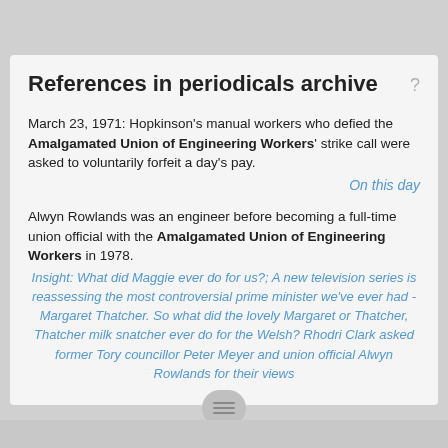References in periodicals archive
March 23, 1971: Hopkinson's manual workers who defied the Amalgamated Union of Engineering Workers' strike call were asked to voluntarily forfeit a day's pay.
On this day
Alwyn Rowlands was an engineer before becoming a full-time union official with the Amalgamated Union of Engineering Workers in 1978.
Insight: What did Maggie ever do for us?; A new television series is reassessing the most controversial prime minister we've ever had - Margaret Thatcher. So what did the lovely Margaret or Thatcher, Thatcher milk snatcher ever do for the Welsh? Rhodri Clark asked former Tory councillor Peter Meyer and union official Alwyn Rowlands for their views